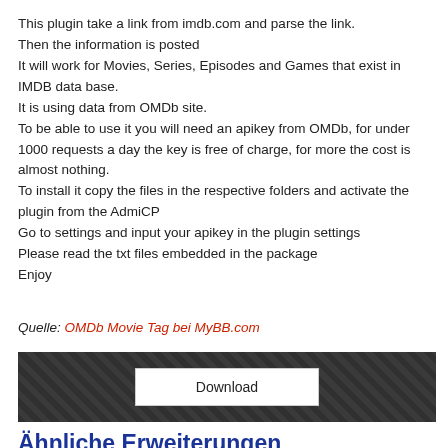This plugin take a link from imdb.com and parse the link. Then the information is posted It will work for Movies, Series, Episodes and Games that exist in IMDB data base. It is using data from OMDb site. To be able to use it you will need an apikey from OMDb, for under 1000 requests a day the key is free of charge, for more the cost is almost nothing. To install it copy the files in the respective folders and activate the plugin from the AdmiCP Go to settings and input your apikey in the plugin settings Please read the txt files embedded in the package Enjoy
Quelle: OMDb Movie Tag bei MyBB.com
[Figure (other): Dark patterned download button bar with a white Download button centered inside]
Ähnliche Erweiterungen